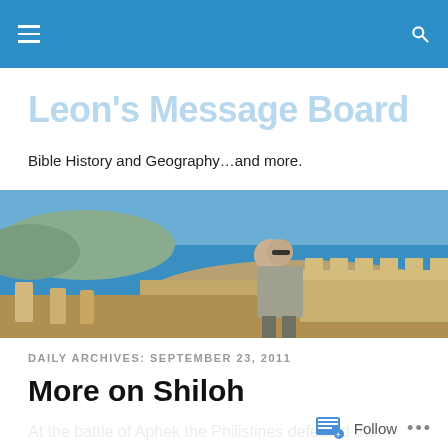Leon's Message Board – navigation bar
Leon's Message Board
Bible History and Geography…and more.
[Figure (photo): Outdoor scenic photo of a man standing on ancient ruins overlooking a blue Mediterranean sea with rocky hills in the background.]
DAILY ARCHIVES: SEPTEMBER 23, 2011
More on Shiloh
At the battle of Aphek the Philistines defeated the